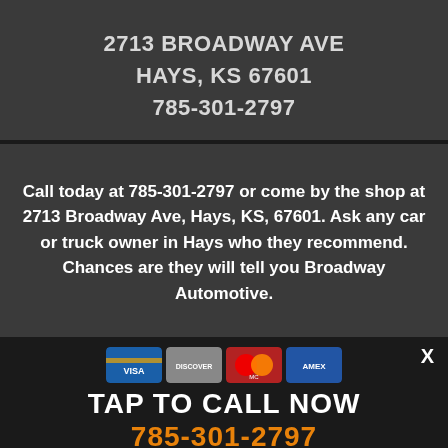2713 BROADWAY AVE
HAYS, KS 67601
785-301-2797
Call today at 785-301-2797 or come by the shop at 2713 Broadway Ave, Hays, KS, 67601. Ask any car or truck owner in Hays who they recommend. Chances are they will tell you Broadway Automotive.
[Figure (other): Payment method card logos: Visa, MasterCard, Discover, and another card brand displayed as small card images]
TAP TO CALL NOW
785-301-2797
Copyright © 2022 R[obscured] All Rights Reserved | View Our Privacy Policy